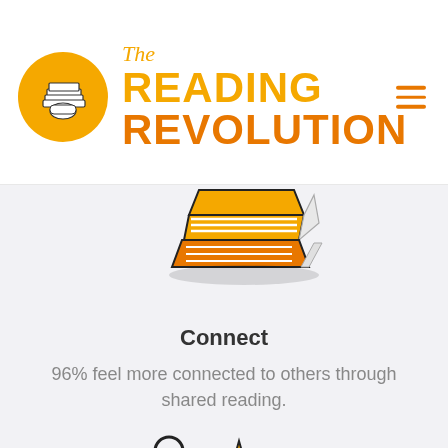The Reading Revolution
[Figure (illustration): Stylized yellow/orange stack of books icon, partially cropped at top]
Connect
96% feel more connected to others through shared reading.
[Figure (illustration): Line-art illustration of two people with heart, star, and dynamic motion elements, partially cropped at bottom]